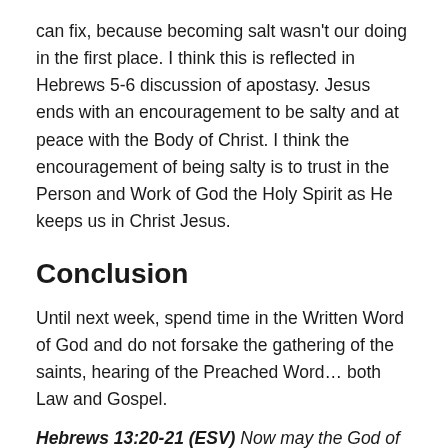can fix, because becoming salt wasn't our doing in the first place. I think this is reflected in Hebrews 5-6 discussion of apostasy. Jesus ends with an encouragement to be salty and at peace with the Body of Christ. I think the encouragement of being salty is to trust in the Person and Work of God the Holy Spirit as He keeps us in Christ Jesus.
Conclusion
Until next week, spend time in the Written Word of God and do not forsake the gathering of the saints, hearing of the Preached Word… both Law and Gospel.
Hebrews 13:20-21 (ESV) Now may the God of peace who brought again from the dead our Lord Jesus, the great